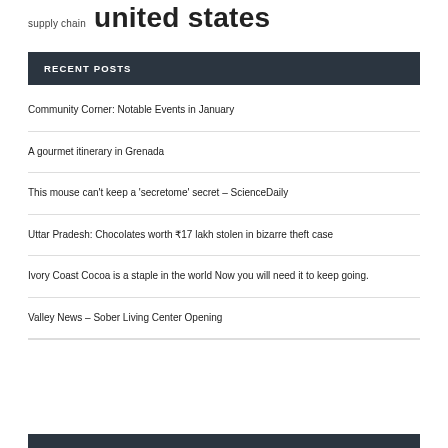supply chain   united states
RECENT POSTS
Community Corner: Notable Events in January
A gourmet itinerary in Grenada
This mouse can't keep a 'secretome' secret – ScienceDaily
Uttar Pradesh: Chocolates worth ₹17 lakh stolen in bizarre theft case
Ivory Coast Cocoa is a staple in the world Now you will need it to keep going.
Valley News – Sober Living Center Opening